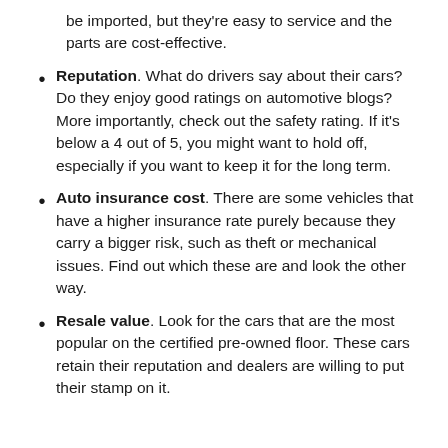be imported, but they're easy to service and the parts are cost-effective.
Reputation. What do drivers say about their cars? Do they enjoy good ratings on automotive blogs? More importantly, check out the safety rating. If it's below a 4 out of 5, you might want to hold off, especially if you want to keep it for the long term.
Auto insurance cost. There are some vehicles that have a higher insurance rate purely because they carry a bigger risk, such as theft or mechanical issues. Find out which these are and look the other way.
Resale value. Look for the cars that are the most popular on the certified pre-owned floor. These cars retain their reputation and dealers are willing to put their stamp on it.